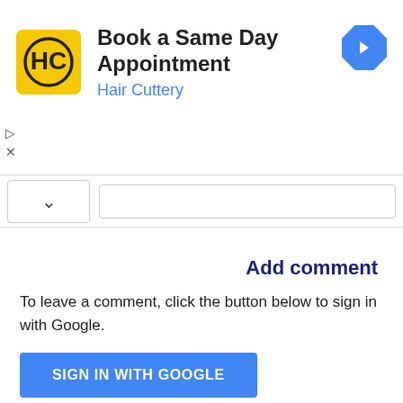[Figure (advertisement): Hair Cuttery ad banner: yellow logo with HC letters, text 'Book a Same Day Appointment' and 'Hair Cuttery' in blue, blue diamond navigation icon on right, play and close controls on left]
[Figure (screenshot): Collapse/expand bar with caret-up button and text input field]
Add comment
To leave a comment, click the button below to sign in with Google.
[Figure (screenshot): Blue 'SIGN IN WITH GOOGLE' button]
NEXT POST: Newer Post
PREVIOUS POST: Older Post